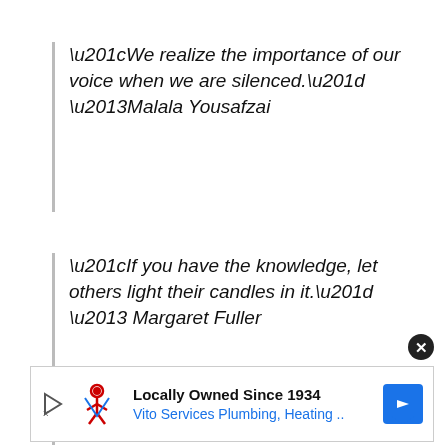“We realize the importance of our voice when we are silenced.” –Malala Yousafzai
“If you have the knowledge, let others light their candles in it.” – Margaret Fuller
[Figure (other): Advertisement banner: Locally Owned Since 1934 - Vito Services Plumbing, Heating .. with logo and navigation arrow icon]